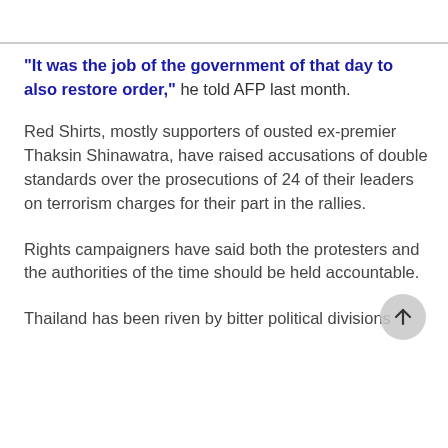"It was the job of the government of that day to also restore order," he told AFP last month.
Red Shirts, mostly supporters of ousted ex-premier Thaksin Shinawatra, have raised accusations of double standards over the prosecutions of 24 of their leaders on terrorism charges for their part in the rallies.
Rights campaigners have said both the protesters and the authorities of the time should be held accountable.
Thailand has been riven by bitter political divisions